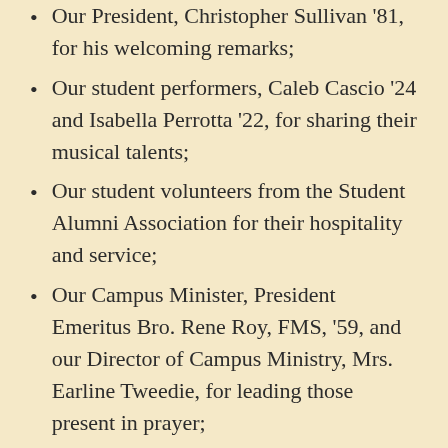Our President, Christopher Sullivan '81, for his welcoming remarks;
Our student performers, Caleb Cascio '24 and Isabella Perrotta '22, for sharing their musical talents;
Our student volunteers from the Student Alumni Association for their hospitality and service;
Our Campus Minister, President Emeritus Bro. Rene Roy, FMS, '59, and our Director of Campus Ministry, Mrs. Earline Tweedie, for leading those present in prayer;
The Party Connection, for catering another delicious meal;